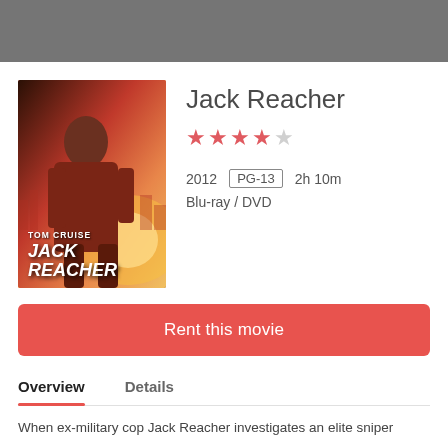[Figure (screenshot): Gray navigation/header bar at the top of a web page]
[Figure (photo): Jack Reacher movie poster featuring Tom Cruise in a leather jacket with city background. Text reads TOM CRUISE JACK REACHER.]
Jack Reacher
[Figure (other): Star rating: 4 filled red stars and 1 empty/gray star]
2012  PG-13  2h 10m
Blu-ray / DVD
Rent this movie
Overview
Details
When ex-military cop Jack Reacher investigates an elite sniper